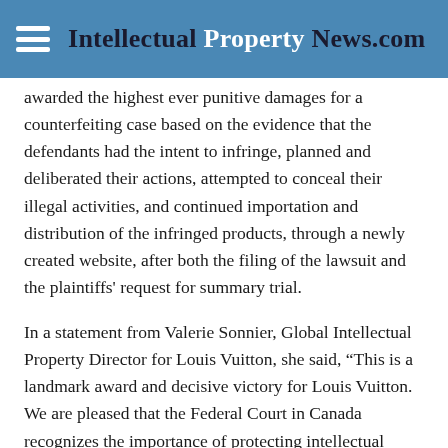Intellectual Property News.com
awarded the highest ever punitive damages for a counterfeiting case based on the evidence that the defendants had the intent to infringe, planned and deliberated their actions, attempted to conceal their illegal activities, and continued importation and distribution of the infringed products, through a newly created website, after both the filing of the lawsuit and the plaintiffs' request for summary trial.
In a statement from Valerie Sonnier, Global Intellectual Property Director for Louis Vuitton, she said, “This is a landmark award and decisive victory for Louis Vuitton. We are pleased that the Federal Court in Canada recognizes the importance of protecting intellectual